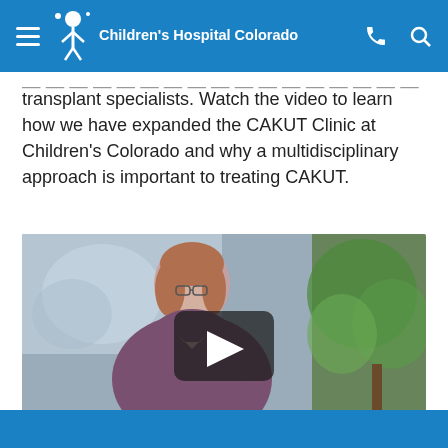Children's Hospital Colorado
transplant specialists. Watch the video to learn how we have expanded the CAKUT Clinic at Children's Colorado and why a multidisciplinary approach is important to treating CAKUT.
[Figure (screenshot): Video thumbnail showing a woman with glasses and auburn hair wearing a purple shirt, seated in front of a plant and abstract artwork, with a YouTube-style play button overlay in the center.]